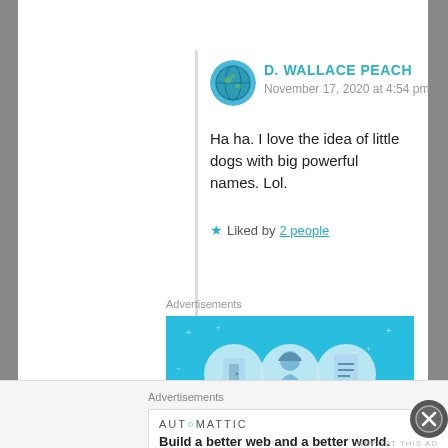[Figure (illustration): Avatar icon showing a globe/earth illustration for user D. Wallace Peach]
D. WALLACE PEACH
November 17, 2020 at 4:54 pm
Ha ha. I love the idea of little dogs with big powerful names. Lol.
★ Liked by 2 people
Advertisements
[Figure (illustration): Blue advertisement banner with icons of a door, person with hat, and a document/certificate on a light blue background with sparkle decorations]
Advertisements
AUTOMATTIC
Build a better web and a better world.